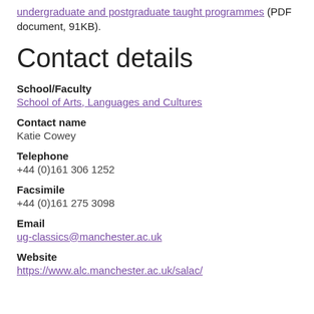undergraduate and postgraduate taught programmes (PDF document, 91KB).
Contact details
School/Faculty
School of Arts, Languages and Cultures
Contact name
Katie Cowey
Telephone
+44 (0)161 306 1252
Facsimile
+44 (0)161 275 3098
Email
ug-classics@manchester.ac.uk
Website
https://www.alc.manchester.ac.uk/salac/